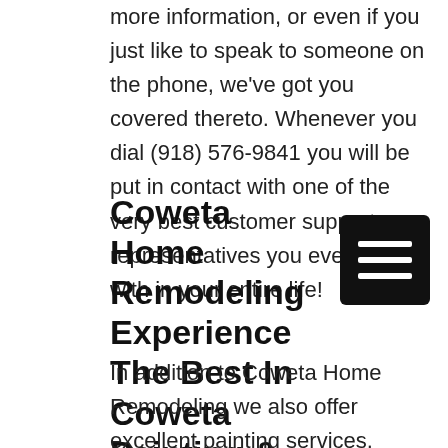more information, or even if you just like to speak to someone on the phone, we've got you covered thereto. Whenever you dial (918) 576-9841 you will be put in contact with one of the very best customer support representatives you ever dealt with in your entire life!
Coweta Home Remodeling Experience The Best In Coweta Painting & Remodel
In addition to Coweta Home Remodeling we also offer excellent painting services. That's right, not only are we going to be able to provide you with the remodeling that you need, we are also going to be over clean and were done. As the service was natural for us to offer, continuance that to prime sheer in as well